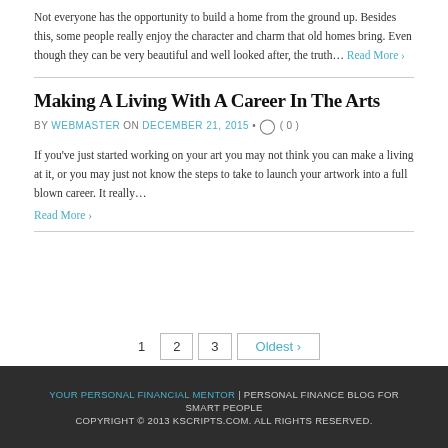Not everyone has the opportunity to build a home from the ground up. Besides this, some people really enjoy the character and charm that old homes bring. Even though they can be very beautiful and well looked after, the truth… Read More ›
Making A Living With A Career In The Arts
BY WEBMASTER ON DECEMBER 21, 2015 • ( 0 )
If you've just started working on your art you may not think you can make a living at it, or you may just not know the steps to take to launch your artwork into a full blown career. It really…
Read More ›
1  2  3  Oldest ›
YOUR PERSONAL FINANCIAL MENTOR | PERSONAL FINANCE BLOG FOR SMART PEOPLE
COPYRIGHT © 2013 KSCRIPTS.COM. ALL RIGHTS RESERVED.